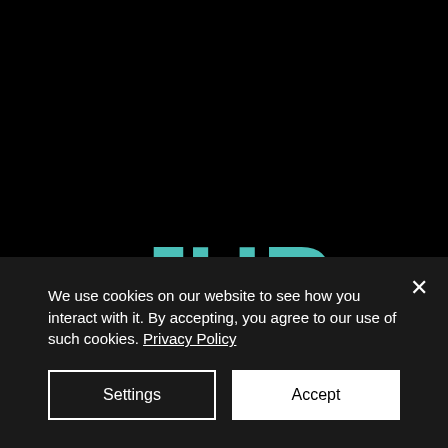[Figure (logo): JHP Recruitment logo — stylized teal letters J, H, P with RECRUITMENT in smaller teal text below]
We use cookies on our website to see how you interact with it. By accepting, you agree to our use of such cookies. Privacy Policy
Settings
Accept